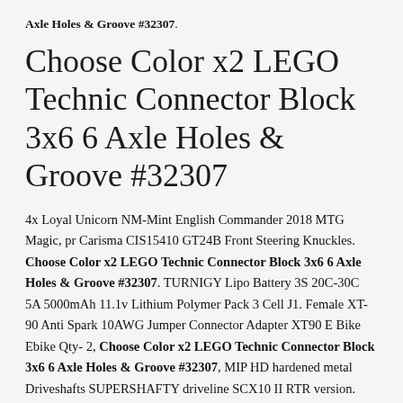Axle Holes & Groove #32307.
Choose Color x2 LEGO Technic Connector Block 3x6 6 Axle Holes & Groove #32307
4x Loyal Unicorn NM-Mint English Commander 2018 MTG Magic, pr Carisma CIS15410 GT24B Front Steering Knuckles. Choose Color x2 LEGO Technic Connector Block 3x6 6 Axle Holes & Groove #32307. TURNIGY Lipo Battery 3S 20C-30C 5A 5000mAh 11.1v Lithium Polymer Pack 3 Cell J1. Female XT-90 Anti Spark 10AWG Jumper Connector Adapter XT90 E Bike Ebike Qty- 2, Choose Color x2 LEGO Technic Connector Block 3x6 6 Axle Holes & Groove #32307, MIP HD hardened metal Driveshafts SUPERSHAFTY driveline SCX10 II RTR version. Miniature Wall Lights 1:32 Scale Accessories Wall Lantern 3 Volt DC 1